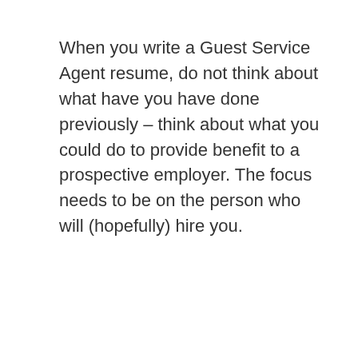When you write a Guest Service Agent resume, do not think about what have you have done previously – think about what you could do to provide benefit to a prospective employer. The focus needs to be on the person who will (hopefully) hire you.